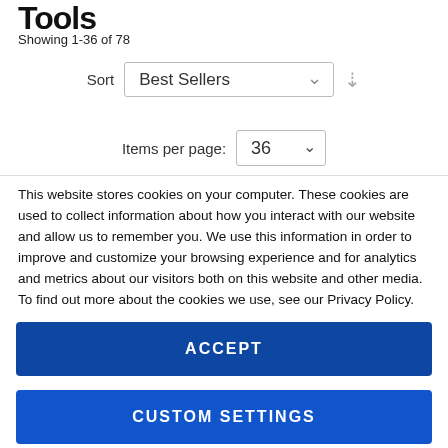Tools
Showing 1-36 of 78
Sort  Best Sellers
Items per page:  36
This website stores cookies on your computer. These cookies are used to collect information about how you interact with our website and allow us to remember you. We use this information in order to improve and customize your browsing experience and for analytics and metrics about our visitors both on this website and other media. To find out more about the cookies we use, see our Privacy Policy.
ACCEPT
CUSTOM SETTINGS